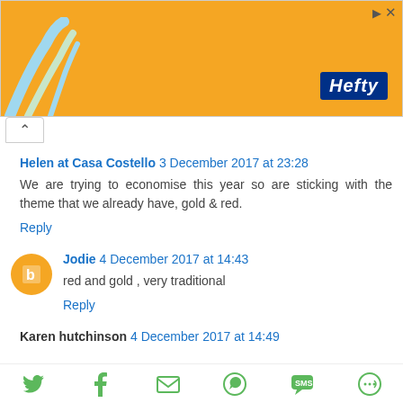[Figure (photo): Orange Hefty brand advertisement banner with decorative straws/items on the left and Hefty logo on the right. Has ad control icons (play/close) at top right.]
^ (collapse button)
Helen at Casa Costello  3 December 2017 at 23:28
We are trying to economise this year so are sticking with the theme that we already have, gold & red.
Reply
Jodie  4 December 2017 at 14:43
red and gold , very traditional
Reply
Karen hutchinson  4 December 2017 at 14:49
[Figure (infographic): Bottom share bar with social media icons: Twitter bird, Facebook f, envelope/email, WhatsApp, SMS bubble, and a circular share icon, all in green color.]